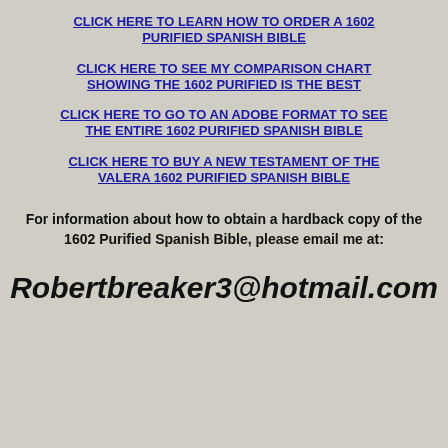CLICK HERE TO LEARN HOW TO ORDER A 1602 PURIFIED SPANISH BIBLE
CLICK HERE TO SEE MY COMPARISON CHART SHOWING THE 1602 PURIFIED IS THE BEST
CLICK HERE TO GO TO AN ADOBE FORMAT TO SEE THE ENTIRE 1602 PURIFIED SPANISH BIBLE
CLICK HERE TO BUY A NEW TESTAMENT OF THE VALERA 1602 PURIFIED SPANISH BIBLE
For information about how to obtain a hardback copy of the 1602 Purified Spanish Bible, please email me at:
Robertbreaker3@hotmail.com